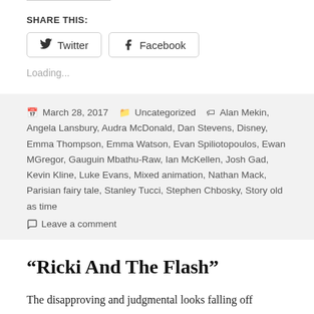SHARE THIS:
Twitter  Facebook
Loading...
March 28, 2017   Uncategorized   Alan Mekin, Angela Lansbury, Audra McDonald, Dan Stevens, Disney, Emma Thompson, Emma Watson, Evan Spiliotopoulos, Ewan MGregor, Gauguin Mbathu-Raw, Ian McKellen, Josh Gad, Kevin Kline, Luke Evans, Mixed animation, Nathan Mack, Parisian fairy tale, Stanley Tucci, Stephen Chbosky, Story old as time
Leave a comment
“Ricki And The Flash”
The disapproving and judgmental looks falling off